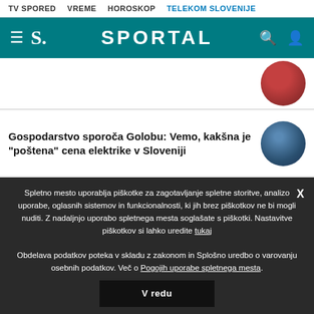TV SPORED   VREME   HOROSKOP   TELEKOM SLOVENIJE
[Figure (logo): Sportal website header with hamburger menu, S. logo, SPORTAL title, search and user icons on teal background]
[Figure (photo): Circular thumbnail image, red/dark tones]
Gospodarstvo sporoča Golobu: Vemo, kakšna je "poštena" cena elektrike v Sloveniji
Potem ko naj bi mu hotel vzeti mladička, ga je raztrgal do smrti
V krsto so ga zakopali živega, a se mu je uspelo rešiti
Spletno mesto uporablja piškotke za zagotavljanje spletne storitve, analizo uporabe, oglasnih sistemov in funkcionalnosti, ki jih brez piškotkov ne bi mogli nuditi. Z nadaljnjo uporabo spletnega mesta soglašate s piškotki. Nastavitve piškotkov si lahko uredite tukaj

Obdelava podatkov poteka v skladu z zakonom in Splošno uredbo o varovanju osebnih podatkov. Več o Pogojih uporabe spletnega mesta.